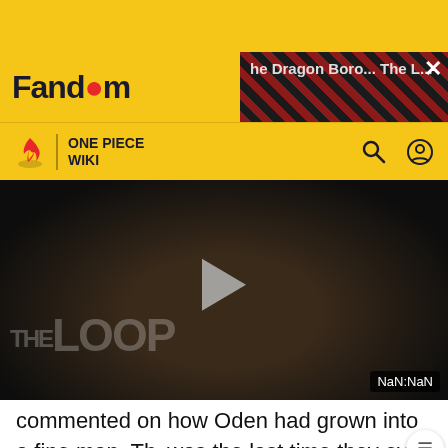Fandom | ONE PIECE WIKI
[Figure (screenshot): Fandom video player showing 'The Loop' with a paused video, play button overlay, and NaN:NaN timestamp. Dark background with diagonal stripe pattern overlay on the right side showing an advertisement.]
commented on how Oden had grown into a fine man. This was the last time they ever spoke to each other.[16] Orochi and his family then imprisoned Sukiyaki in a hidden room in the palace,[8] and told the populace of Wano that the shogun had passed away.[25]